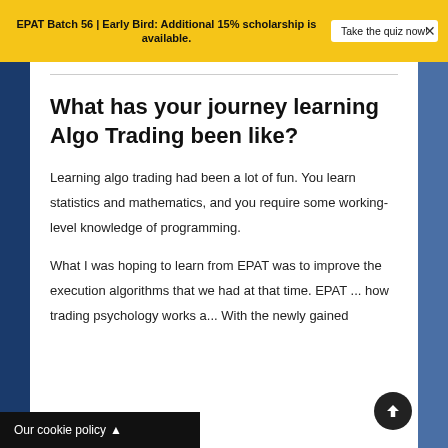EPAT Batch 56 | Early Bird: Additional 15% scholarship is available. Take the quiz now!
What has your journey learning Algo Trading been like?
Learning algo trading had been a lot of fun. You learn statistics and mathematics, and you require some working-level knowledge of programming.
What I was hoping to learn from EPAT was to improve the execution algorithms that we had at that time. EPAT ... how trading psychology works ... With the newly gained...